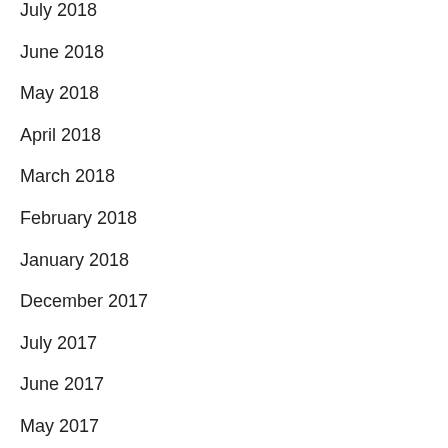July 2018
June 2018
May 2018
April 2018
March 2018
February 2018
January 2018
December 2017
July 2017
June 2017
May 2017
March 2017
January 2013